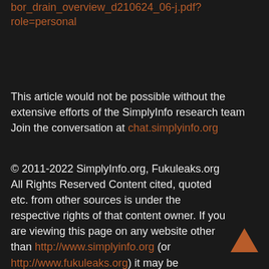bor_drain_overview_d210624_06-j.pdf?role=personal
This article would not be possible without the extensive efforts of the SimplyInfo research team Join the conversation at chat.simplyinfo.org
© 2011-2022 SimplyInfo.org, Fukuleaks.org All Rights Reserved Content cited, quoted etc. from other sources is under the respective rights of that content owner. If you are viewing this page on any website other than http://www.simplyinfo.org (or http://www.fukuleaks.org) it may be plagiarized, please let us know. If you wish to reproduce any